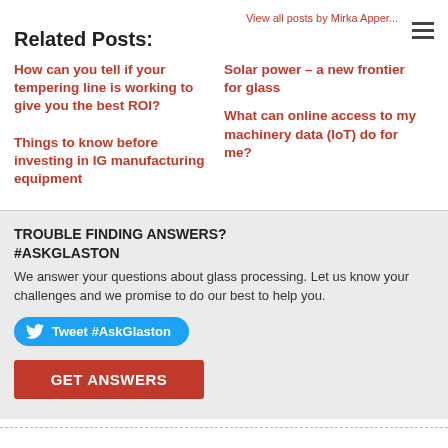View all posts by Mirka Apper...
Related Posts:
How can you tell if your tempering line is working to give you the best ROI?
Solar power – a new frontier for glass
What can online access to my machinery data (IoT) do for me?
Things to know before investing in IG manufacturing equipment
TROUBLE FINDING ANSWERS? #ASKGLASTON
We answer your questions about glass processing. Let us know your challenges and we promise to do our best to help you.
Tweet #AskGlaston
GET ANSWERS